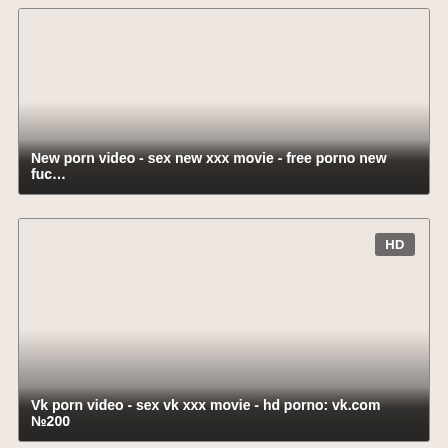[Figure (screenshot): Video thumbnail card with dark gradient overlay at bottom and title text]
New porn video - sex new xxx movie - free porno new fuc…
[Figure (screenshot): Video thumbnail card with HD badge in top right, dark gradient overlay at bottom and title text]
Vk porn video - sex vk xxx movie - hd porno: vk.com №200